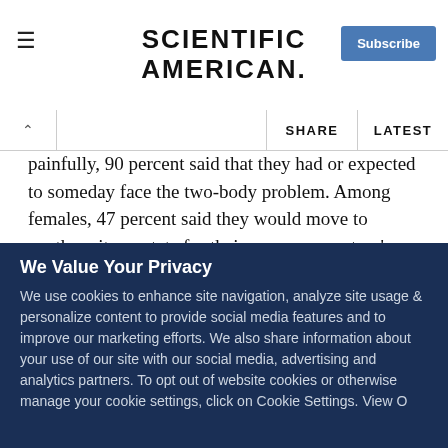SCIENTIFIC AMERICAN
painfully, 90 percent said that they had or expected to someday face the two-body problem. Among females, 47 percent said they would move to another city or state for their spouse or partner's job, and 56 percent of males said they would; however, 33 percent of females said that they actual had done so, whereas only 20 percent of males said that they had. The partner hire is elusive: 11 percent said that they had successfully negotiated a position for their significant other (or
We Value Your Privacy
We use cookies to enhance site navigation, analyze site usage & personalize content to provide social media features and to improve our marketing efforts. We also share information about your use of our site with our social media, advertising and analytics partners. To opt out of website cookies or otherwise manage your cookie settings, click on Cookie Settings. View O